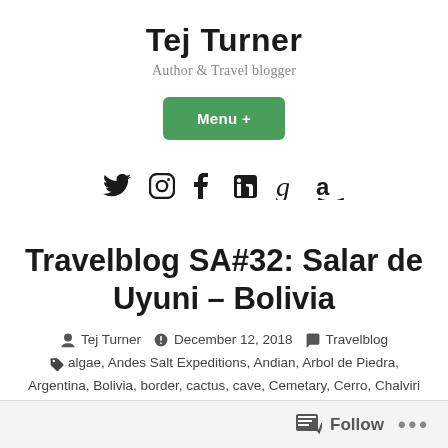Tej Turner
Author & Travel blogger
Menu +
[Figure (infographic): Social media icons row: Twitter, Instagram, Facebook, LinkedIn, Goodreads, Amazon]
Travelblog SA#32: Salar de Uyuni – Bolivia
Tej Turner   December 12, 2018   Travelblog
algae, Andes Salt Expeditions, Andian, Arbol de Piedra, Argentina, Bolivia, border, cactus, cave, Cemetary, Cerro, Chalviri Chile, Chil...
Follow   ...